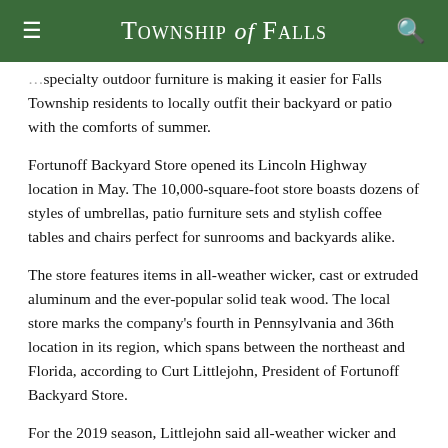TOWNSHIP of FALLS
…[partial]…specialty outdoor furniture is making it easier for Falls Township residents to locally outfit their backyard or patio with the comforts of summer.
Fortunoff Backyard Store opened its Lincoln Highway location in May. The 10,000-square-foot store boasts dozens of styles of umbrellas, patio furniture sets and stylish coffee tables and chairs perfect for sunrooms and backyards alike.
The store features items in all-weather wicker, cast or extruded aluminum and the ever-popular solid teak wood. The local store marks the company's fourth in Pennsylvania and 36th location in its region, which spans between the northeast and Florida, according to Curt Littlejohn, President of Fortunoff Backyard Store.
For the 2019 season, Littlejohn said all-weather wicker and…